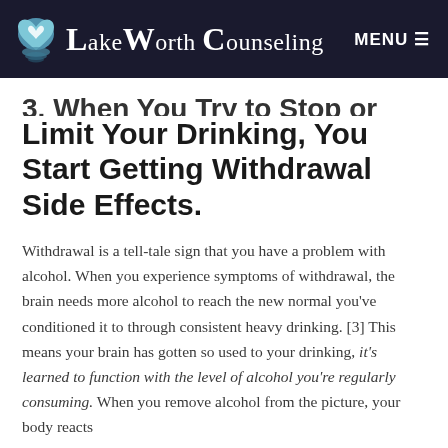Lake Worth Counseling | MENU
3. When You Try to Stop or Limit Your Drinking, You Start Getting Withdrawal Side Effects.
Withdrawal is a tell-tale sign that you have a problem with alcohol. When you experience symptoms of withdrawal, the brain needs more alcohol to reach the new normal you've conditioned it to through consistent heavy drinking. [3] This means your brain has gotten so used to your drinking, it's learned to function with the level of alcohol you're regularly consuming. When you remove alcohol from the picture, your body reacts